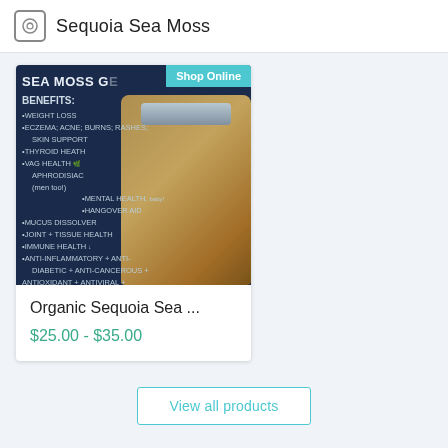Sequoia Sea Moss
[Figure (photo): Product image for Organic Sequoia Sea Moss gel jar with text overlay listing benefits: Weight Loss, Eczema/Acne/Burns/Rashes/Skin Support, Thyroid Health, VAG Health/Aphrodisiac (men too!), Mental Health, Hangover Aid, Mucus Dissolver, Joint + Tissue Health, Immune Health, Anti-inflammatory + Anti-Diabetic + Anti-Cancerous, Antioxidant + Antiviral + Ulcers + Digestive Health. Blue 'Shop Online' badge in top right corner.]
Organic Sequoia Sea ...
$25.00 - $35.00
View all products